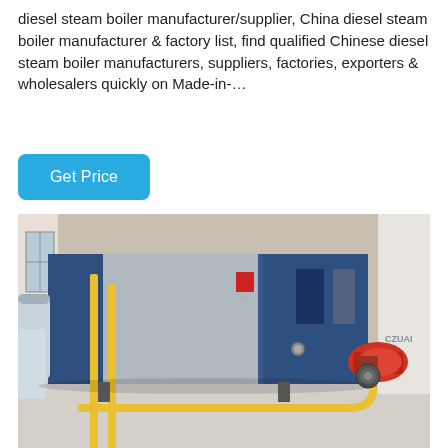diesel steam boiler manufacturer/supplier, China diesel steam boiler manufacturer & factory list, find qualified Chinese diesel steam boiler manufacturers, suppliers, factories, exporters & wholesalers quickly on Made-in-…
[Figure (other): A blue and silver industrial diesel steam boiler with a red burner attachment and yellow gas piping, displayed in an indoor industrial setting.]